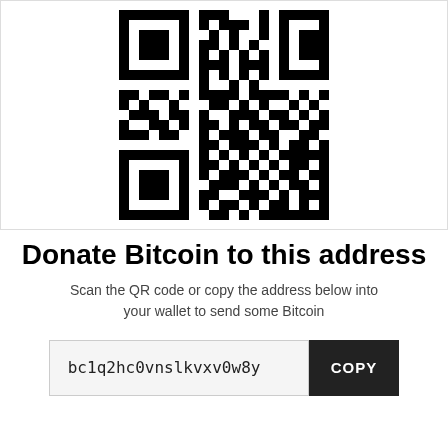[Figure (other): QR code for Bitcoin donation address bc1q2hc0vnslkvxv0w8y]
Donate Bitcoin to this address
Scan the QR code or copy the address below into your wallet to send some Bitcoin
bc1q2hc0vnslkvxv0w8y  COPY